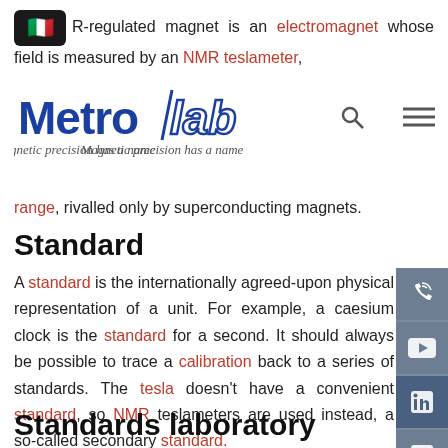R-regulated magnet is an electromagnet whose field is measured by an NMR teslameter,
[Figure (logo): Metrolab logo with tagline 'Magnetic precision has a name', search icon and hamburger menu icon]
range, rivalled only by superconducting magnets.
Standard
A standard is the internationally agreed-upon physical representation of a unit. For example, a caesium clock is the standard for a second. It should always be possible to trace a calibration back to a series of standards. The tesla doesn't have a convenient standard, so NMR teslameters are used instead, a so-called secondary standard.
Standards laboratory